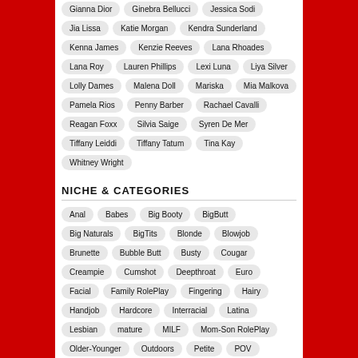Gianna Dior
Ginebra Bellucci
Jessica Sodi
Jia Lissa
Katie Morgan
Kendra Sunderland
Kenna James
Kenzie Reeves
Lana Rhoades
Lana Roy
Lauren Phillips
Lexi Luna
Liya Silver
Lolly Dames
Malena Doll
Mariska
Mia Malkova
Pamela Rios
Penny Barber
Rachael Cavalli
Reagan Foxx
Silvia Saige
Syren De Mer
Tiffany Leiddi
Tiffany Tatum
Tina Kay
Whitney Wright
NICHE & CATEGORIES
Anal
Babes
Big Booty
BigButt
Big Naturals
BigTits
Blonde
Blowjob
Brunette
Bubble Butt
Busty
Cougar
Creampie
Cumshot
Deepthroat
Euro
Facial
Family RolePlay
Fingering
Hairy
Handjob
Hardcore
Interracial
Latina
Lesbian
mature
MILF
Mom-Son RolePlay
Older-Younger
Outdoors
Petite
POV
Rimjob
Sex Toys
SmallButt
SmallTits